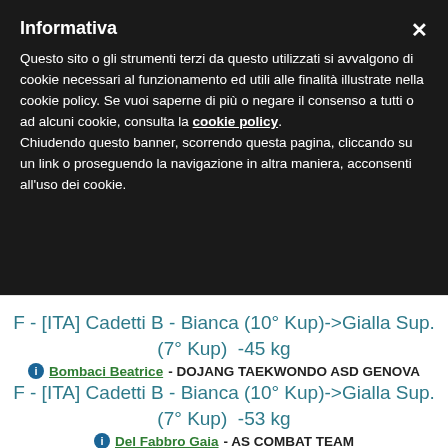Informativa
Questo sito o gli strumenti terzi da questo utilizzati si avvalgono di cookie necessari al funzionamento ed utili alle finalità illustrate nella cookie policy. Se vuoi saperne di più o negare il consenso a tutti o ad alcuni cookie, consulta la cookie policy. Chiudendo questo banner, scorrendo questa pagina, cliccando su un link o proseguendo la navigazione in altra maniera, acconsenti all'uso dei cookie.
F - [ITA] Cadetti B - Bianca (10° Kup)->Gialla Sup. (7° Kup)  -45 kg
Bombaci Beatrice - DOJANG TAEKWONDO ASD GENOVA
F - [ITA] Cadetti B - Bianca (10° Kup)->Gialla Sup. (7° Kup)  -53 kg
Del Fabbro Gaia - AS COMBAT TEAM